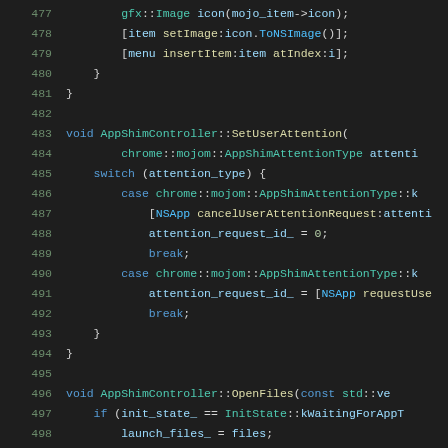[Figure (screenshot): Source code editor showing C++ code lines 477-498, dark theme with syntax highlighting. Code includes gfx::Image icon usage, AppShimController::SetUserAttention function with switch statement, and AppShimController::OpenFiles function beginning.]